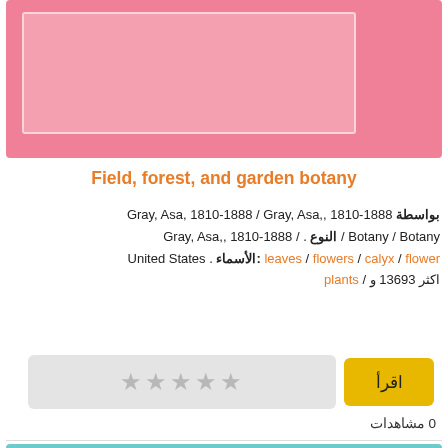[Figure (illustration): Pink card with inner bordered box]
Field, forest, and garden botany
بواسطة Gray, Asa, 1810-1888 / Gray, Asa,, 1810-1888 / Botany / Botany / النوع . / Gray, Asa,, 1810-1888 / الأسماء: leaves / flowers / calyx / flower . United States / plants / و 13693 اكثر
اقرأ
0 مشاهدات
Manual of the botany of the northern